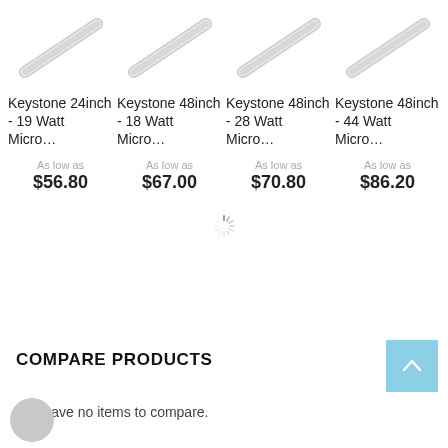[Figure (photo): Fluorescent tube product image - Keystone 24inch 19 Watt Micro]
[Figure (photo): Fluorescent tube product image - Keystone 48inch 18 Watt Micro]
[Figure (photo): Fluorescent tube product image - Keystone 48inch 28 Watt Micro]
[Figure (photo): Fluorescent tube product image - Keystone 48inch 44 Watt Micro]
Keystone 24inch - 19 Watt Micro…
As low as $56.80
Keystone 48inch - 18 Watt Micro…
As low as $67.00
Keystone 48inch - 28 Watt Micro…
As low as $70.80
Keystone 48inch - 44 Watt Micro…
As low as $86.20
COMPARE PRODUCTS
You have no items to compare.